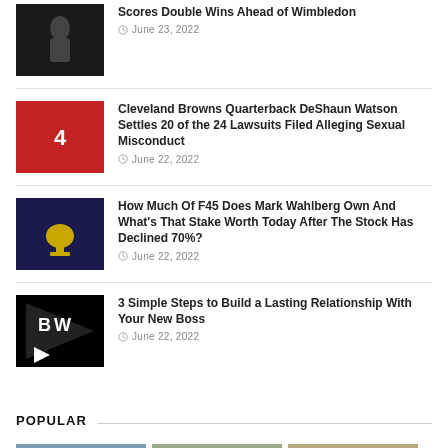Scores Double Wins Ahead of Wimbledon
June 23, 2022
Cleveland Browns Quarterback DeShaun Watson Settles 20 of the 24 Lawsuits Filed Alleging Sexual Misconduct
June 22, 2022
How Much Of F45 Does Mark Wahlberg Own And What's That Stake Worth Today After The Stock Has Declined 70%?
June 22, 2022
3 Simple Steps to Build a Lasting Relationship With Your New Boss
June 22, 2022
POPULAR